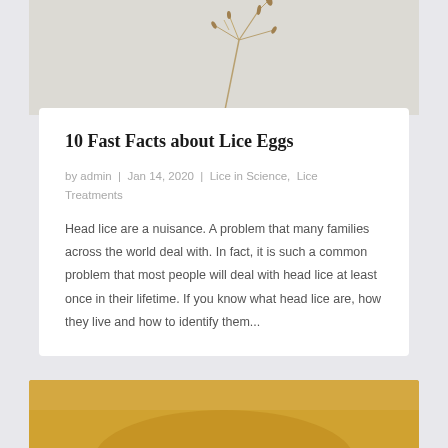[Figure (photo): Partial view of dry plant branches or grass stems against a light gray textured background, cropped at top of page]
10 Fast Facts about Lice Eggs
by admin | Jan 14, 2020 | Lice in Science, Lice Treatments
Head lice are a nuisance. A problem that many families across the world deal with. In fact, it is such a common problem that most people will deal with head lice at least once in their lifetime. If you know what head lice are, how they live and how to identify them...
[Figure (photo): Partial view of what appears to be a golden/amber colored object, likely related to lice treatment, cropped at bottom of page]